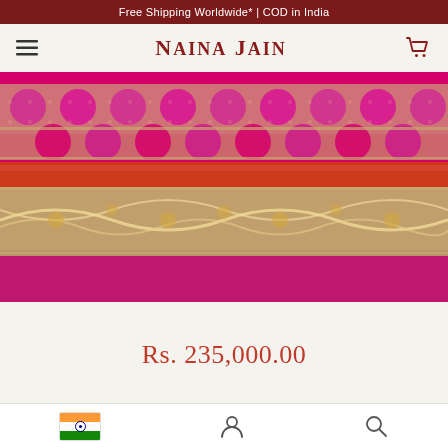Free Shipping Worldwide* | COD in India
NAINA JAIN
[Figure (photo): Close-up of a pink and gold Banarasi saree with intricate floral and geometric brocade weave patterns. The fabric shows rich magenta/fuchsia pink silk with gold zari work in a detailed border design.]
Rs. 235,000.00
India flag icon | User account icon | Search icon